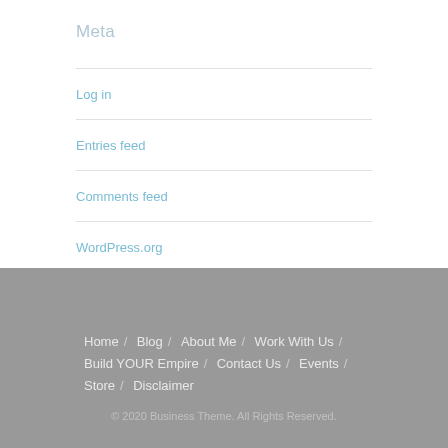Meta
Log in
Entries feed
Comments feed
WordPress.org
Home / Blog / About Me / Work With Us / Build YOUR Empire / Contact Us / Events / Store / Disclaimer
© 2020 Business Theme. All Rights Reserved.